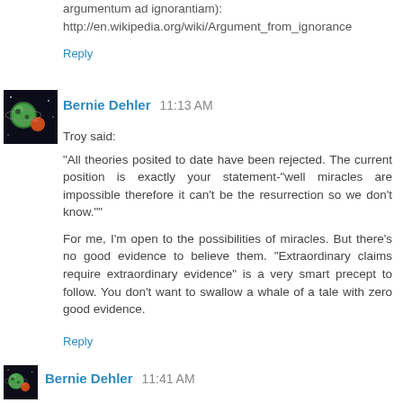argumentum ad ignorantiam): http://en.wikipedia.org/wiki/Argument_from_ignorance
Reply
Bernie Dehler  11:13 AM
Troy said:
"All theories posited to date have been rejected. The current position is exactly your statement-"well miracles are impossible therefore it can't be the resurrection so we don't know.""

For me, I'm open to the possibilities of miracles. But there's no good evidence to believe them. "Extraordinary claims require extraordinary evidence" is a very smart precept to follow. You don't want to swallow a whale of a tale with zero good evidence.
Reply
Bernie Dehler  11:41 AM